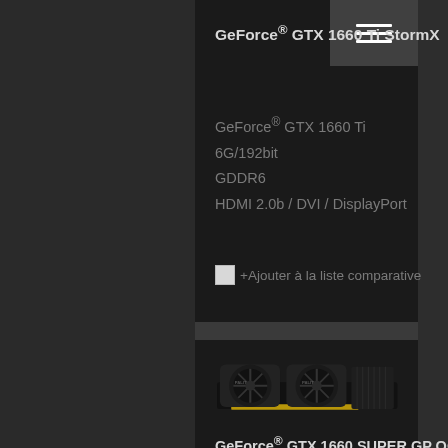GeForce® GTX 1660 Ti StormX
GeForce® GTX 1660 Ti
6G/192bit
GDDR6
HDMI 2.0b / DVI / DisplayPort
☐+Ajouter à la liste comparative
[Figure (photo): Photo of a Palit GeForce GTX 1660 SUPER GP OC graphics card with dual fans]
GeForce® GTX 1660 SUPER GP OC